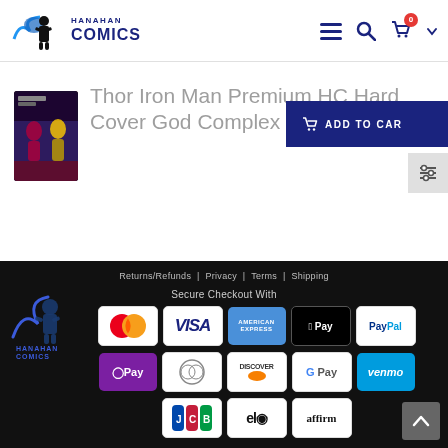Hanahan Comics navigation header with logo, hamburger menu, search, and cart icons
Thor Iron Man Premium HC Hard Cover God Complex
[Figure (illustration): Thor Iron Man comic book thumbnail cover image]
ADD TO CART
Returns/Refunds | Privacy | Terms | Shipping
Secure Checkout With
Payment methods: Mastercard, Visa, American Express, Apple Pay, PayPal, OPay, Diners, Discover, Google Pay, Venmo, JCB, elo, affirm